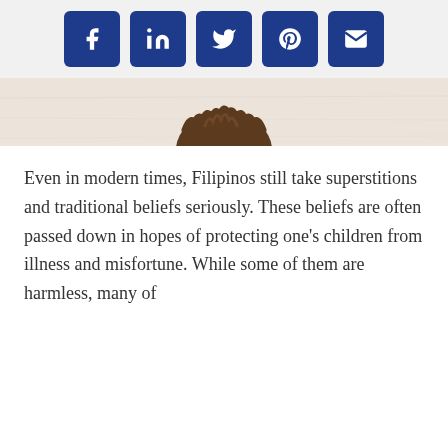[Figure (infographic): Row of five social media share buttons: Facebook, LinkedIn, Twitter, Pinterest, and Email/envelope icons, all white icons on dark blue rounded square backgrounds, displayed on a light gray bar.]
[Figure (photo): Partial photo showing just the top of a child's head with curly brown hair, against a light beige/white textured background. Only the very top of the head is visible.]
Even in modern times, Filipinos still take superstitions and traditional beliefs seriously. These beliefs are often passed down in hopes of protecting one's children from illness and misfortune. While some of them are harmless, many of